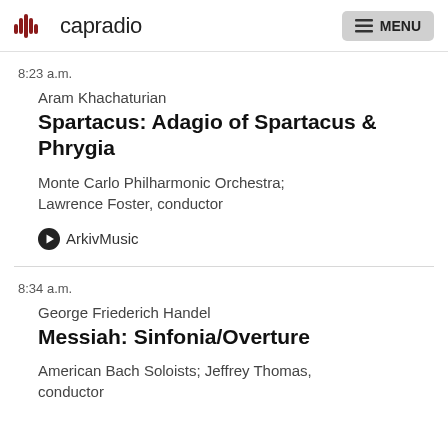capradio  MENU
8:23 a.m.
Aram Khachaturian
Spartacus: Adagio of Spartacus & Phrygia
Monte Carlo Philharmonic Orchestra; Lawrence Foster, conductor
ArkivMusic
8:34 a.m.
George Friederich Handel
Messiah: Sinfonia/Overture
American Bach Soloists; Jeffrey Thomas, conductor